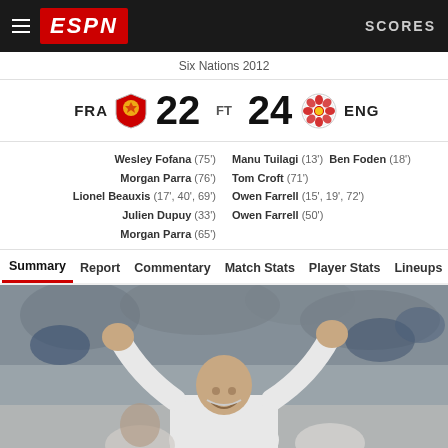ESPN — SCORES
Six Nations 2012
FRA 22 FT 24 ENG
Wesley Fofana (75')  Manu Tuilagi (13')  Ben Foden (18')
Morgan Parra (76')  Tom Croft (71')
Lionel Beauxis (17', 40', 69')  Owen Farrell (15', 19', 72')
Julien Dupuy (33')  Owen Farrell (50')
Morgan Parra (65')
Summary  Report  Commentary  Match Stats  Player Stats  Lineups
[Figure (photo): Celebrating rugby coach/player in white top with fists raised, crowd in background]